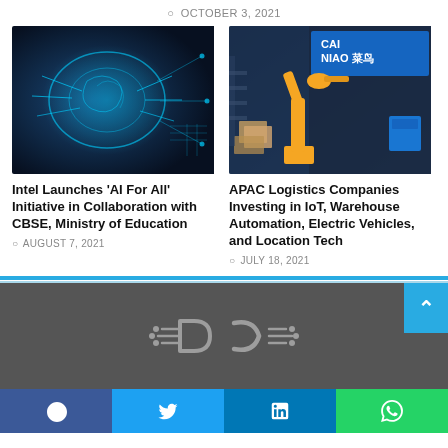OCTOBER 3, 2021
[Figure (photo): AI brain neural network illustration with glowing blue circuit patterns on dark background]
Intel Launches ‘AI For All’ Initiative in Collaboration with CBSE, Ministry of Education
AUGUST 7, 2021
[Figure (photo): Yellow industrial robotic arm in warehouse with Cai Niao logo signage, boxes and blue containers]
APAC Logistics Companies Investing in IoT, Warehouse Automation, Electric Vehicles, and Location Tech
JULY 18, 2021
[Figure (logo): DC logo mark in gray on dark background]
Facebook | Twitter | LinkedIn | WhatsApp social share buttons